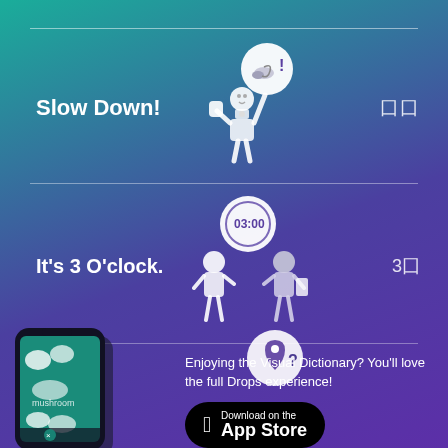Slow Down!
[Figure (illustration): White cartoon illustration of a person holding up a hand with a speech bubble containing a snail and exclamation mark]
囗囗
It's 3 O'clock.
[Figure (illustration): White cartoon illustration of two people talking with a speech bubble showing 03:00]
3囗
[Figure (illustration): Smartphone showing the Drops language learning app interface with food vocabulary illustrations]
[Figure (illustration): Partial circle icon with a location pin and question mark]
Enjoying the Visual Dictionary? You'll love the full Drops experience!
Download on the App Store